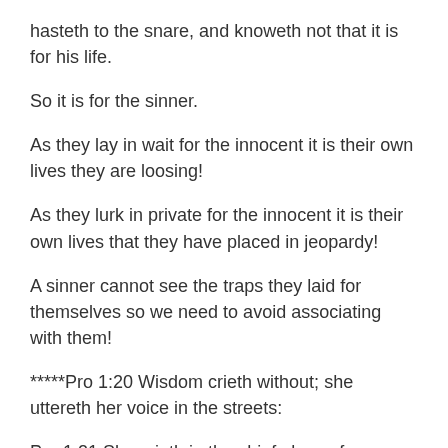hasteth to the snare, and knoweth not that it is for his life.
So it is for the sinner.
As they lay in wait for the innocent it is their own lives they are loosing!
As they lurk in private for the innocent it is their own lives that they have placed in jeopardy!
A sinner cannot see the traps they laid for themselves so we need to avoid associating with them!
*****Pro 1:20 Wisdom crieth without; she uttereth her voice in the streets:
Pro 1:21 She crieth in the chief place of concourse, in the